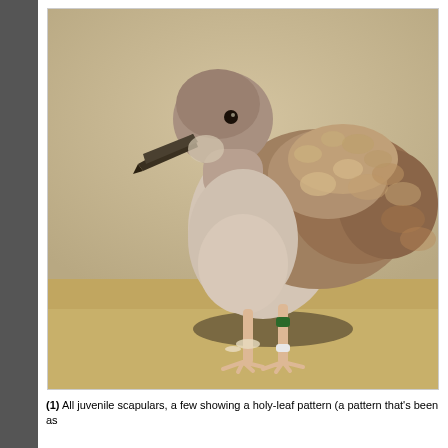[Figure (photo): A juvenile gull (seagull) standing on sandy ground. The bird has brown and white mottled plumage on its wings and back, a rounded gray-brown head, dark beak, and pale pinkish legs. One leg has a green ring band near the top and a white ring at the bottom. The background is a blurred sandy/beige color.]
(1) All juvenile scapulars, a few showing a holy-leaf pattern (a pattern that's been as